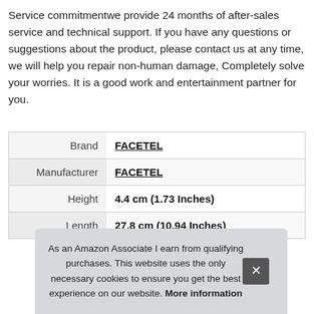Service commitmentwe provide 24 months of after-sales service and technical support. If you have any questions or suggestions about the product, please contact us at any time, we will help you repair non-human damage, Completely solve your worries. It is a good work and entertainment partner for you.
|  |  |
| --- | --- |
| Brand | FACETEL |
| Manufacturer | FACETEL |
| Height | 4.4 cm (1.73 Inches) |
| Length | 27.8 cm (10.94 Inches) |
As an Amazon Associate I earn from qualifying purchases. This website uses the only necessary cookies to ensure you get the best experience on our website. More information